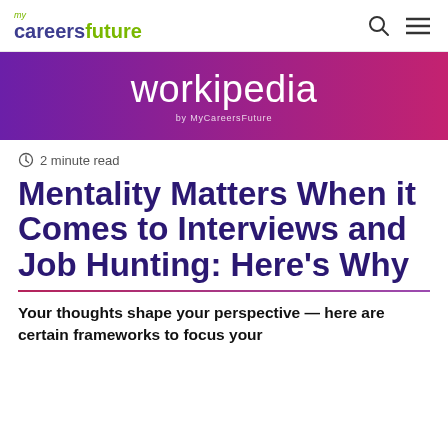my careersfuture
[Figure (logo): Workipedia by MyCareersFuture banner logo with purple to pink gradient background]
2 minute read
Mentality Matters When it Comes to Interviews and Job Hunting: Here’s Why
Your thoughts shape your perspective — here are certain frameworks to focus your